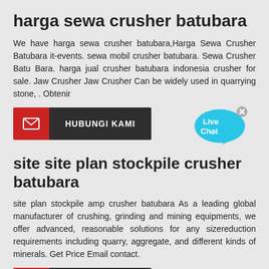harga sewa crusher batubara
We have harga sewa crusher batubara,Harga Sewa Crusher Batubara it-events. sewa mobil crusher batubara. Sewa Crusher Batu Bara. harga jual crusher batubara indonesia crusher for sale. Jaw Crusher Jaw Crusher Can be widely used in quarrying stone, . Obtenir
[Figure (other): Button labeled HUBUNGI KAMI with red email icon on left and dark background on right]
[Figure (other): Live Chat bubble widget in cyan/blue color with X close button]
site site plan stockpile crusher batubara
site plan stockpile amp crusher batubara As a leading global manufacturer of crushing, grinding and mining equipments, we offer advanced, reasonable solutions for any sizereduction requirements including quarry, aggregate, and different kinds of minerals. Get Price Email contact.
[Figure (other): Button labeled HUBUNGI KAMI with red email icon on left and dark background on right]